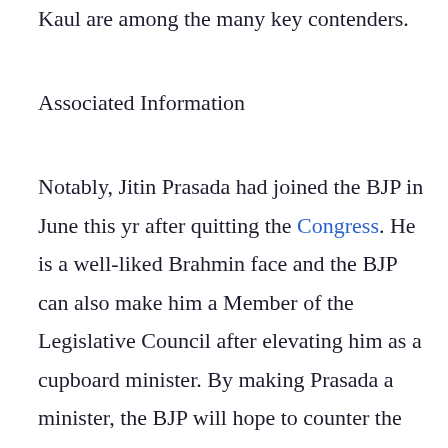Kaul are among the many key contenders.
Associated Information
Notably, Jitin Prasada had joined the BJP in June this yr after quitting the Congress. He is a well-liked Brahmin face and the BJP can also make him a Member of the Legislative Council after elevating him as a cupboard minister. By making Prasada a minister, the BJP will hope to counter the narrative being set by the opposition that the ruling celebration is anti-